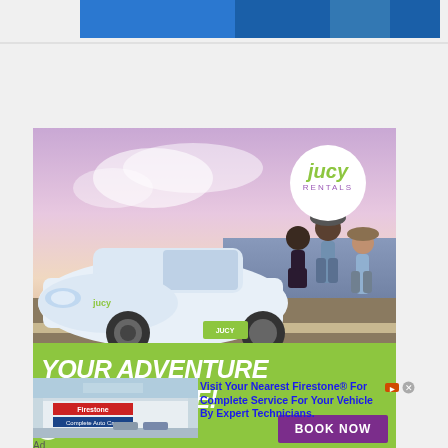[Figure (screenshot): Top blue banner/header strip partially visible]
[Figure (illustration): JUCY Rentals advertisement showing people near a white car at a waterfront sunset scene with green bar at bottom reading YOUR ADVENTURE STARTS HERE! with BOOK NOW purple button and JUCY RENTALS logo circle]
[Figure (photo): Firestone Complete Auto Care store exterior photo]
Visit Your Nearest Firestone® For Complete Service For Your Vehicle By Expert Technicians.
Ad